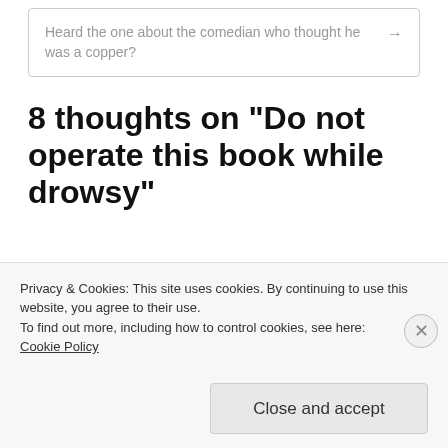Heard the one about the comedian who thought he was a copper? →
8 thoughts on “Do not operate this book while drowsy”
writerwoman61 says:
Privacy & Cookies: This site uses cookies. By continuing to use this website, you agree to their use.
To find out more, including how to control cookies, see here: Cookie Policy
Close and accept